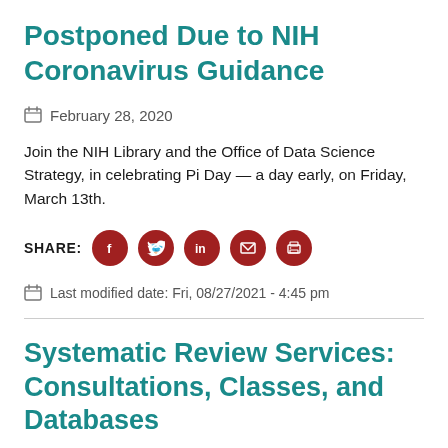Postponed Due to NIH Coronavirus Guidance
February 28, 2020
Join the NIH Library and the Office of Data Science Strategy, in celebrating Pi Day — a day early, on Friday, March 13th.
SHARE:
Last modified date: Fri, 08/27/2021 - 4:45 pm
Systematic Review Services: Consultations, Classes, and Databases